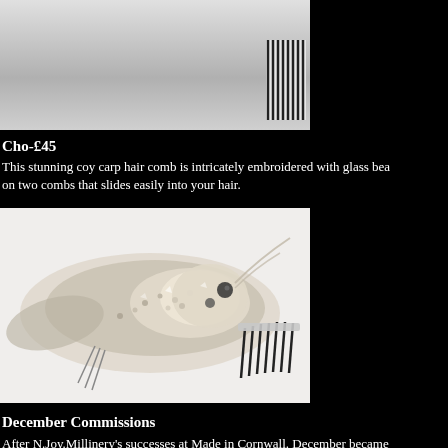[Figure (photo): Top portion of a beaded hair comb accessory on white background, showing feathers and beaded decorations with a striped comb base]
Cho-£45
This stunning coy carp hair comb is intricately embroidered with glass bea on two combs that slides easily into your hair.
[Figure (photo): A silver and crystal beaded koi carp hair comb accessory on white background, showing intricate bead embroidery and a metal hair comb base]
December Commissions
After N.Joy.Millinery's successes at Made in Cornwall. December became